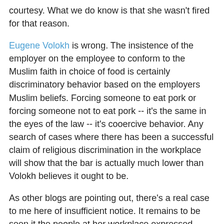courtesy. What we do know is that she wasn't fired for that reason.
Eugene Volokh is wrong. The insistence of the employer on the employee to conform to the Muslim faith in choice of food is certainly discriminatory behavior based on the employers Muslim beliefs. Forcing someone to eat pork or forcing someone not to eat pork -- it's the same in the eyes of the law -- it's cooercive behavior. Any search of cases where there has been a successful claim of religious discrimination in the workplace will show that the bar is actually much lower than Volokh believes it ought to be.
As other blogs are pointing out, there's a real case to me here of insufficient notice. It remains to be seen it the people at her workplace expressed mere annoyance at her or a genuine disciplinary process was undertaken before her firing. It would be entirely different if this was in writing.